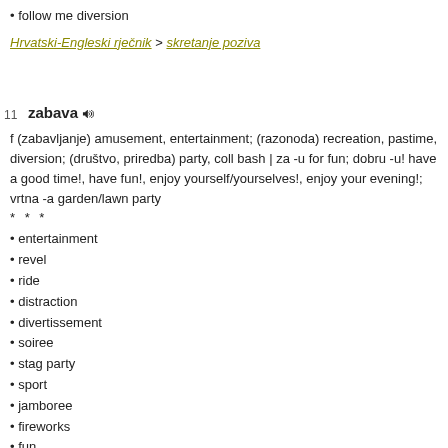• follow me diversion
Hrvatski-Engleski rječnik > skretanje poziva
11  zabava 🔊
f (zabavljanje) amusement, entertainment; (razonoda) recreation, pastime, diversion; (društvo, priredba) party, coll bash | za -u for fun; dobru -u! have a good time!, have fun!, enjoy yourself/yourselves!, enjoy your evening!; vrtna -a garden/lawn party
* * *
• entertainment
• revel
• ride
• distraction
• divertissement
• soiree
• stag party
• sport
• jamboree
• fireworks
• fun
• amusment